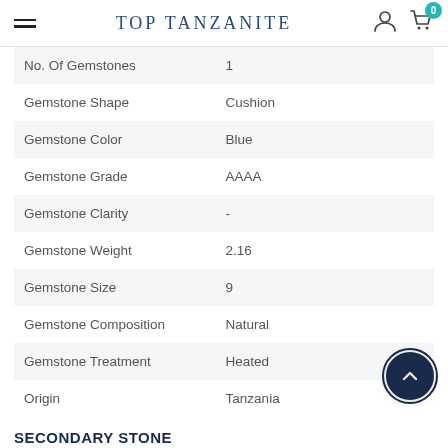TOP TANZANITE
| Attribute | Value |
| --- | --- |
| No. Of Gemstones | 1 |
| Gemstone Shape | Cushion |
| Gemstone Color | Blue |
| Gemstone Grade | AAAA |
| Gemstone Clarity | - |
| Gemstone Weight | 2.16 |
| Gemstone Size | 9 |
| Gemstone Composition | Natural |
| Gemstone Treatment | Heated |
| Origin | Tanzania |
SECONDARY STONE